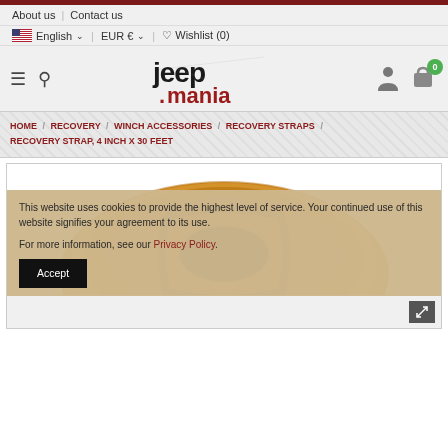About us | Contact us | English | EUR € | Wishlist (0)
[Figure (logo): Jeepmania logo — distressed black and red text reading 'jeepmania']
HOME / RECOVERY / WINCH ACCESSORIES / RECOVERY STRAPS / RECOVERY STRAP, 4 INCH X 30 FEET
[Figure (photo): Rolled orange/tan recovery strap viewed from front, partially visible]
This website uses cookies to provide the highest level of service. Your continued use of this website signifies your agreement to its use.

For more information, see our Privacy Policy.

Accept